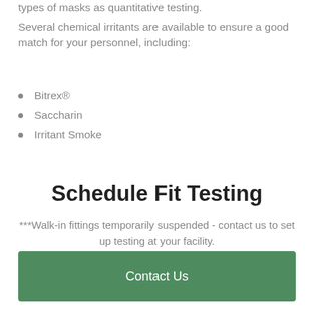types of masks as quantitative testing.
Several chemical irritants are available to ensure a good match for your personnel, including:
Bitrex®
Saccharin
Irritant Smoke
Schedule Fit Testing
***Walk-in fittings temporarily suspended - contact us to set up testing at your facility.
Contact Us